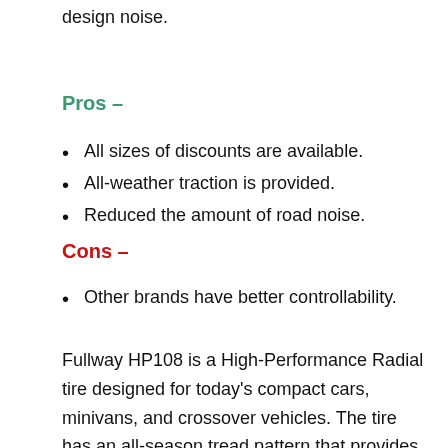design noise.
Pros –
All sizes of discounts are available.
All-weather traction is provided.
Reduced the amount of road noise.
Cons –
Other brands have better controllability.
Fullway HP108 is a High-Performance Radial tire designed for today's compact cars, minivans, and crossover vehicles. The tire has an all-season tread pattern that provides a smooth ride and excellent